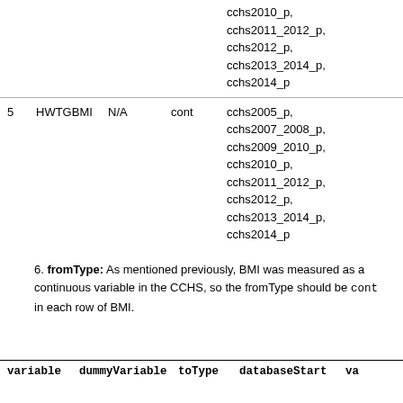|  | variable | dummyVariable | toType | databases |
| --- | --- | --- | --- | --- |
|  |  |  |  | cchs2010_p, cchs2011_2012_p, cchs2012_p, cchs2013_2014_p, cchs2014_p |
| 5 | HWTGBMI | N/A | cont | cchs2005_p, cchs2007_2008_p, cchs2009_2010_p, cchs2010_p, cchs2011_2012_p, cchs2012_p, cchs2013_2014_p, cchs2014_p |
6. fromType: As mentioned previously, BMI was measured as a continuous variable in the CCHS, so the fromType should be cont in each row of BMI.
| variable | dummyVariable | toType | databaseStart | va |
| --- | --- | --- | --- | --- |